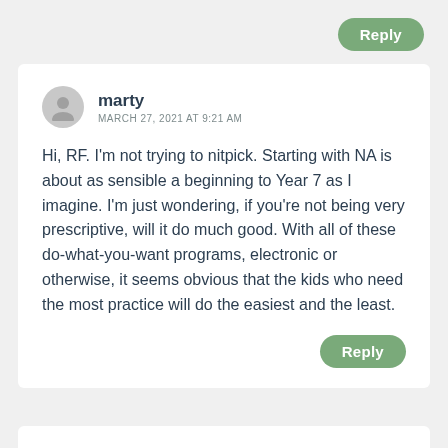Reply
marty
MARCH 27, 2021 AT 9:21 AM
Hi, RF. I'm not trying to nitpick. Starting with NA is about as sensible a beginning to Year 7 as I imagine. I'm just wondering, if you're not being very prescriptive, will it do much good. With all of these do-what-you-want programs, electronic or otherwise, it seems obvious that the kids who need the most practice will do the easiest and the least.
Reply